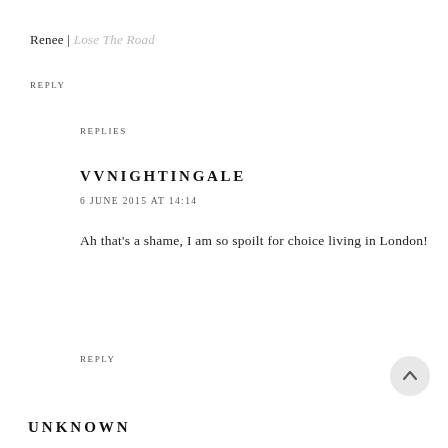Renee | Lose The Road
REPLY
REPLIES
VVNIGHTINGALE
6 JUNE 2015 AT 14:14
Ah that's a shame, I am so spoilt for choice living in London!
REPLY
UNKNOWN